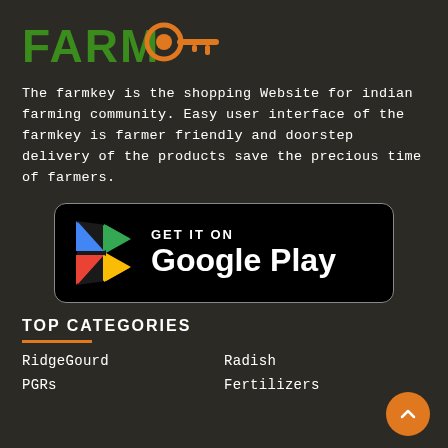FARMKEY (logo)
The farmkey is the shopping Website for indian farming community. Easy user interface of the farmkey is farmer friendly and doorstep delivery of the products save the precious time of farmers.
[Figure (logo): Google Play Store badge — black rounded rectangle with Google Play logo (colorful triangle) and text GET IT ON Google Play]
TOP CATEGORIES
RidgeGourd
Radish
PGRs
Fertilizers